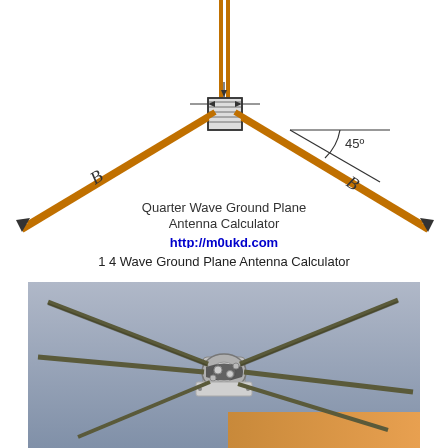[Figure (engineering-diagram): Quarter wave ground plane antenna diagram showing two radials labeled B extending downward at 45 degrees from a central connector/coax feed point, with a vertical element going up. A 45 degree angle indicator is shown on the right side.]
1 4 Wave Ground Plane Antenna Calculator
[Figure (photo): Close-up photograph of a quarter wave ground plane antenna connector hub showing multiple metal radial rods extending outward, held together with clamps and hardware, mounted on a silver metal plate.]